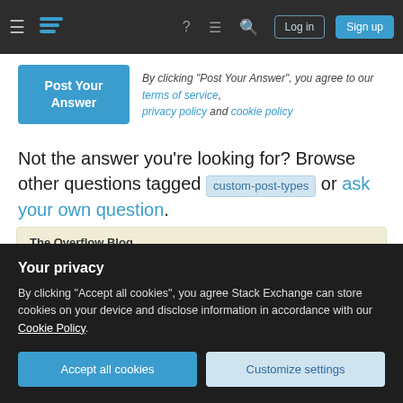Stack Exchange navigation bar with hamburger menu, logo, help, chat, search, Log in, Sign up
By clicking "Post Your Answer", you agree to our terms of service, privacy policy and cookie policy
Not the answer you're looking for? Browse other questions tagged custom-post-types or ask your own question.
The Overflow Blog
The last technical interview you'll ever take (Ep. 474)
Combining the best of engineering cultures from Silicon
Your privacy
By clicking "Accept all cookies", you agree Stack Exchange can store cookies on your device and disclose information in accordance with our Cookie Policy.
Please welcome Valued Associate #1301 - Emerson